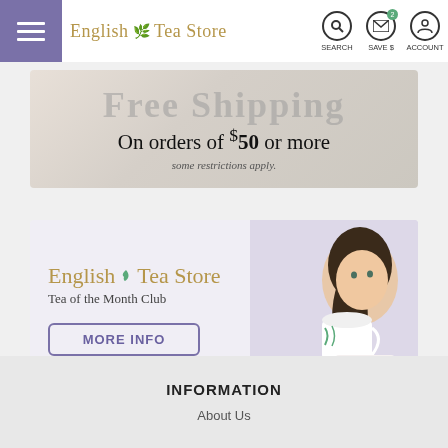English Tea Store | SEARCH | SAVE $ | ACCOUNT
[Figure (screenshot): Free Shipping banner: 'On orders of $50 or more, some restrictions apply.']
[Figure (infographic): English Tea Store Tea of the Month Club banner with MORE INFO button and woman drinking tea image.]
INFORMATION
About Us